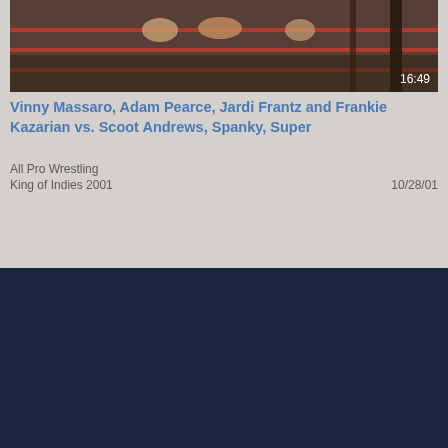[Figure (screenshot): Video thumbnail showing wrestling match, two people at ring ropes, timestamp 16:49 shown bottom right]
Vinny Massaro, Adam Pearce, Jardi Frantz and Frankie Kazarian vs. Scoot Andrews, Spanky, Super
All Pro Wrestling
King of Indies 2001
10/28/01
About
#SupportWomensWrestling is more than a trending topic on Twitter: it's a movement. ClickWrestle is committed to making it easier for fans to support women's wrestling, one match at a time.
Quick Links